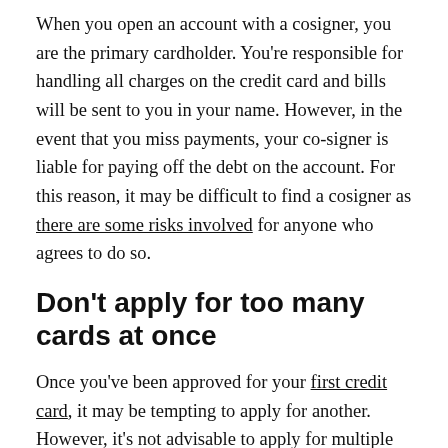When you open an account with a cosigner, you are the primary cardholder. You're responsible for handling all charges on the credit card and bills will be sent to you in your name. However, in the event that you miss payments, your co-signer is liable for paying off the debt on the account. For this reason, it may be difficult to find a cosigner as there are some risks involved for anyone who agrees to do so.
Don't apply for too many cards at once
Once you've been approved for your first credit card, it may be tempting to apply for another. However, it's not advisable to apply for multiple